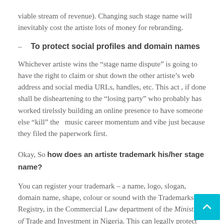viable stream of revenue). Changing such stage name will inevitably cost the artiste lots of money for rebranding.
– To protect social profiles and domain names
Whichever artiste wins the “stage name dispute” is going to have the right to claim or shut down the other artiste’s web address and social media URLs, handles, etc. This act , if done shall be disheartening to the “losing party” who probably has worked tirelssly building an online presence to have someone else “kill” the  music career momentum and vibe just because they filed the paperwork first.
Okay, So how does an artiste trademark his/her stage name?
You can register your trademark – a name, logo, slogan, domain name, shape, colour or sound with the Trademarks Registry, in the Commercial Law department of the Ministry of Trade and Investment in Nigeria. This can legally protect your